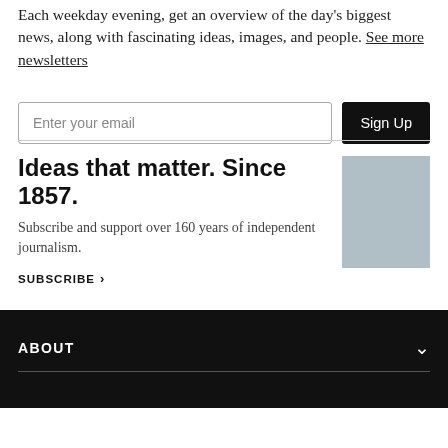Each weekday evening, get an overview of the day's biggest news, along with fascinating ideas, images, and people. See more newsletters
Enter your email
Sign Up
Ideas that matter. Since 1857.
Subscribe and support over 160 years of independent journalism.
SUBSCRIBE ›
[Figure (photo): Gray placeholder image for Atlantic magazine subscription promotion]
ABOUT
Subscribe for unlimited access